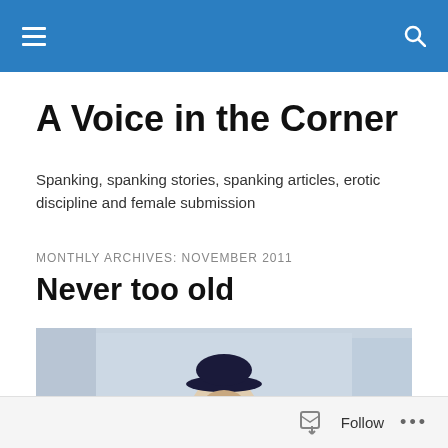A Voice in the Corner — navigation bar with hamburger menu and search icon
A Voice in the Corner
Spanking, spanking stories, spanking articles, erotic discipline and female submission
MONTHLY ARCHIVES: NOVEMBER 2011
Never too old
[Figure (illustration): A painting/illustration showing the upper body of a person wearing a dark military-style cap, against a light blue-grey background with geometric shapes.]
Follow  •••